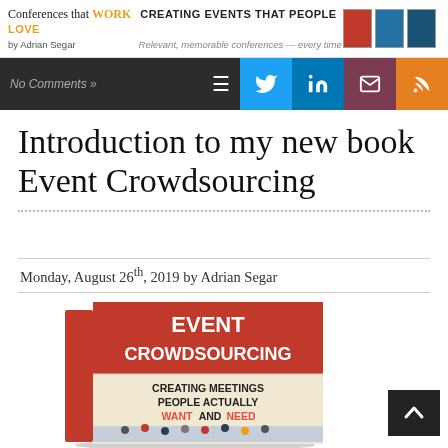Conferences that WORK CREATING EVENTS THAT PEOPLE LOVE by Adrian Segar Relevant, memorable conferences — every time
No Comments »
Introduction to my new book Event Crowdsourcing
Monday, August 26th, 2019 by Adrian Segar
[Figure (photo): Book cover of 'Event Crowdsourcing: Creating Meetings People Actually Want and Need' by Adrian Segar, shown as a 3D book mockup with a red/orange top section with white title text and a lower cream section with dark text subtitle. The book spine reads 'EVENT CROWDSOURCING'. Bottom of cover shows a photo of people at a conference.]